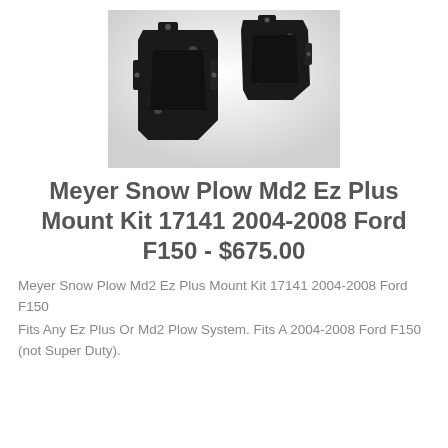[Figure (photo): Two black metal snow plow mount bracket pieces on a white/gray background]
Meyer Snow Plow Md2 Ez Plus Mount Kit 17141 2004-2008 Ford F150 - $675.00
Meyer Snow Plow Md2 Ez Plus Mount Kit 17141 2004-2008 Ford F150
Fits Any Ez Plus Or Md2 Plow System. Fits A 2004-2008 Ford F150 (not Super Duty).